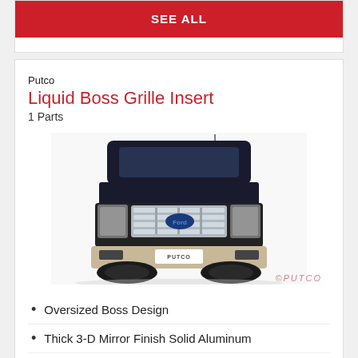SEE ALL
Putco
Liquid Boss Grille Insert
1 Parts
[Figure (photo): Front view of a dark-colored Ford truck with a silver Putco Liquid Boss grille insert installed, showing the grille prominently. Putco branding visible on the license plate area. Watermark text '©PUTCO' in bottom right.]
Oversized Boss Design
Thick 3-D Mirror Finish Solid Aluminum
Heavy Gauge Design